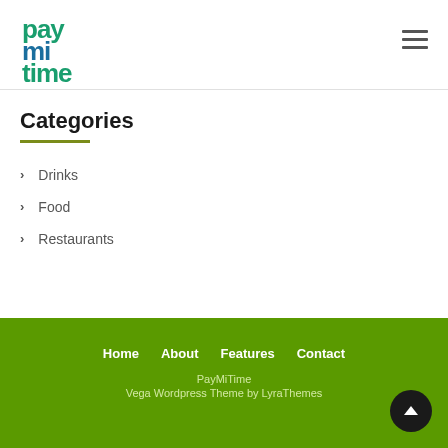PayMiTime logo and hamburger menu
Categories
Drinks
Food
Restaurants
Home  About  Features  Contact
PayMiTime
Vega Wordpress Theme by LyraThemes